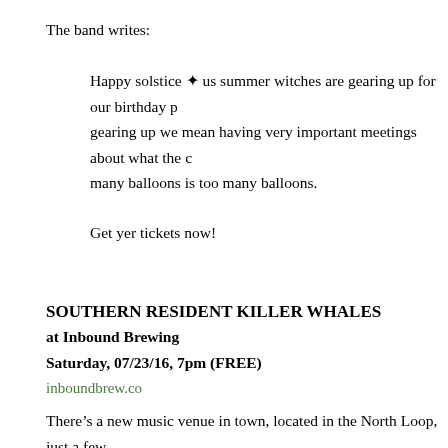The band writes:
Happy solstice ✦ us summer witches are gearing up for our birthday p... gearing up we mean having very important meetings about what the c... many balloons is too many balloons.
Get yer tickets now!
SOUTHERN RESIDENT KILLER WHALES
at Inbound Brewing
Saturday, 07/23/16, 7pm (FREE)
inboundbrew.co
There's a new music venue in town, located in the North Loop, just a few... Inbound Brewing.
Local pop quartet Southern Resident Killer Whales (Dan Hylton'... American Housewife next Saturday. The latter is formerly known as Sna...